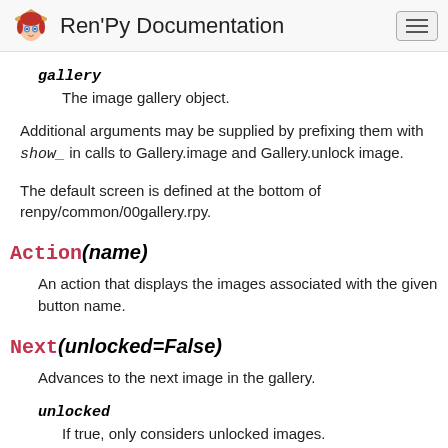Ren'Py Documentation
gallery
The image gallery object.
Additional arguments may be supplied by prefixing them with show_ in calls to Gallery.image and Gallery.unlock image.
The default screen is defined at the bottom of renpy/common/00gallery.rpy.
Action(name)
An action that displays the images associated with the given button name.
Next(unlocked=False)
Advances to the next image in the gallery.
unlocked
If true, only considers unlocked images.